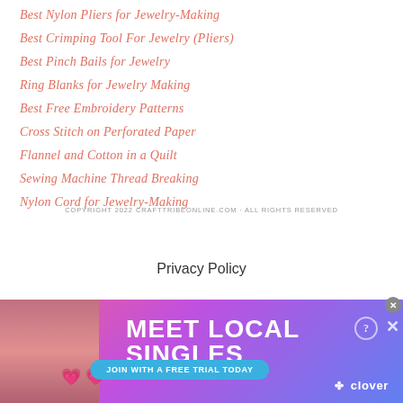Best Nylon Pliers for Jewelry-Making
Best Crimping Tool For Jewelry (Pliers)
Best Pinch Bails for Jewelry
Ring Blanks for Jewelry Making
Best Free Embroidery Patterns
Cross Stitch on Perforated Paper
Flannel and Cotton in a Quilt
Sewing Machine Thread Breaking
Nylon Cord for Jewelry-Making
COPYRIGHT 2022 CRAFTTRIBEONLINE.COM · ALL RIGHTS RESERVED
Privacy Policy
[Figure (screenshot): Advertisement banner for 'Meet Local Singles' featuring a woman, pink/purple gradient background, 'Join with a free trial today' CTA button, and Clover branding.]